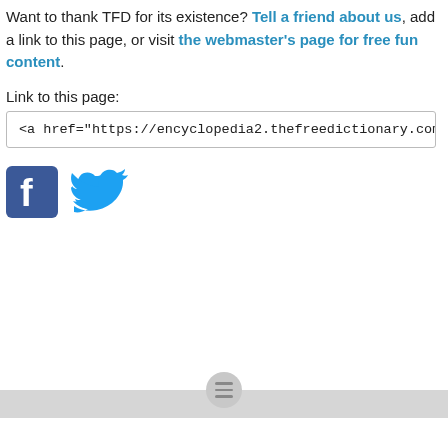Want to thank TFD for its existence? Tell a friend about us, add a link to this page, or visit the webmaster's page for free fun content.
Link to this page:
<a href="https://encyclopedia2.thefreedictionary.com/Arecanut">betel nut
[Figure (logo): Facebook and Twitter social sharing icons]